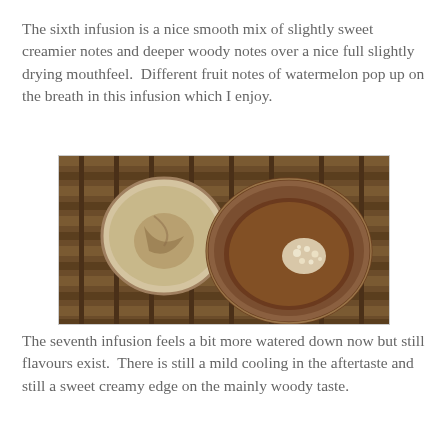The sixth infusion is a nice smooth mix of slightly sweet creamier notes and deeper woody notes over a nice full slightly drying mouthfeel.  Different fruit notes of watermelon pop up on the breath in this infusion which I enjoy.
[Figure (photo): Overhead view of two ceramic tea cups on a wooden slatted tea tray. Left cup is smaller with a white/cream glaze and brown staining, empty. Right cup is larger with a brown/amber tea liquid inside showing white foam/bubbles on the surface.]
The seventh infusion feels a bit more watered down now but still flavours exist.  There is still a mild cooling in the aftertaste and still a sweet creamy edge on the mainly woody taste.